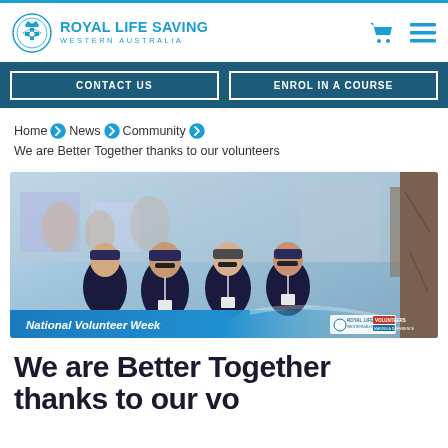Royal Life Saving Western Australia
CONTACT US | ENROL IN A COURSE
Home > News > Community > We are Better Together thanks to our volunteers
[Figure (photo): Four female volunteers wearing navy shirts, caps and sunglasses at an outdoor event. A banner at the bottom reads National Volunteer Week with Royal Life Saving and Volunteers logos.]
We are Better Together thanks to our volunteers